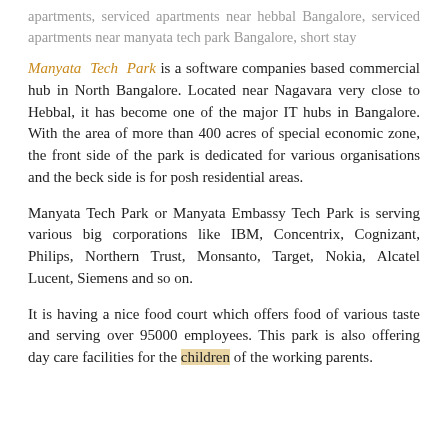apartments, serviced apartments near hebbal Bangalore, serviced apartments near manyata tech park Bangalore, short stay
Manyata Tech Park is a software companies based commercial hub in North Bangalore. Located near Nagavara very close to Hebbal, it has become one of the major IT hubs in Bangalore. With the area of more than 400 acres of special economic zone, the front side of the park is dedicated for various organisations and the beck side is for posh residential areas.
Manyata Tech Park or Manyata Embassy Tech Park is serving various big corporations like IBM, Concentrix, Cognizant, Philips, Northern Trust, Monsanto, Target, Nokia, Alcatel Lucent, Siemens and so on.
It is having a nice food court which offers food of various taste and serving over 95000 employees. This park is also offering day care facilities for the children of the working parents.